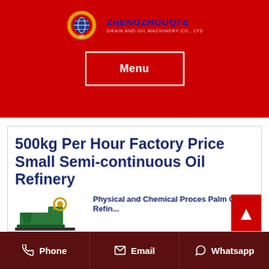[Figure (logo): Zhengzhouqi'e Grain and Oil Machinery Co., Ltd logo with circular gear icon and company name in red and blue]
Menu
500kg Per Hour Factory Price Small Semi-continuous Oil Refinery
[Figure (photo): Green industrial oil pressing machine with belt drive mechanism]
Physical and Chemical Process Palm Oil Refin...
Phone   Email   Whatsapp